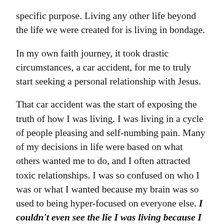specific purpose. Living any other life beyond the life we were created for is living in bondage.
In my own faith journey, it took drastic circumstances, a car accident, for me to truly start seeking a personal relationship with Jesus.
That car accident was the start of exposing the truth of how I was living. I was living in a cycle of people pleasing and self-numbing pain. Many of my decisions in life were based on what others wanted me to do, and I often attracted toxic relationships. I was so confused on who I was or what I wanted because my brain was so used to being hyper-focused on everyone else. I couldn't even see the lie I was living because I was immersed in it.
The Lord pursued me and took me away from everything and everyone I knew after that car accident. He wanted me to see the truth so that I could be set free and live the life I was called to live. As I began going to